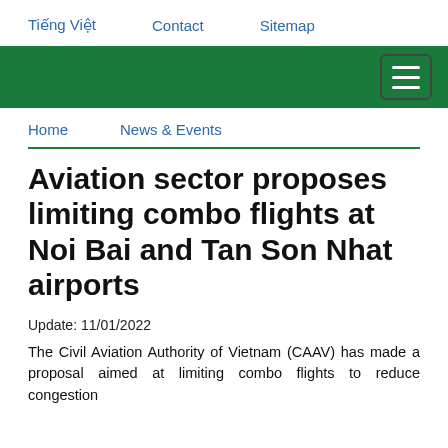Tiếng Việt   Contact   Sitemap
[Green navigation bar with hamburger menu]
Home   News & Events
Aviation sector proposes limiting combo flights at Noi Bai and Tan Son Nhat airports
Update: 11/01/2022
The Civil Aviation Authority of Vietnam (CAAV) has made a proposal aimed at limiting combo flights to reduce congestion